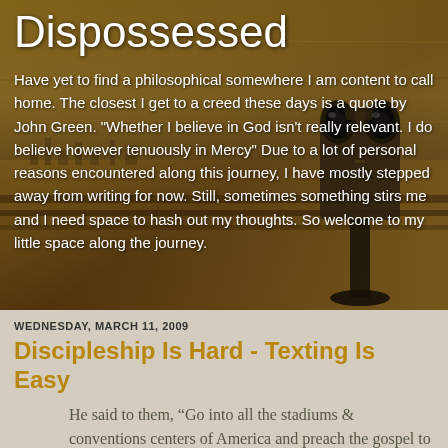Dispossessed
Have yet to find a philosophical somewhere I am content to call home. The closest I get to a creed these days is a quote by John Green. "Whether I believe in God isn't really relevant. I do believe however tenuously in Mercy" Due to a lot of personal reasons encountered along this journey, I have mostly stepped away from writing for now. Still, sometimes something stirs me and I need space to hash out my thoughts. So welcome to my little space along the journey.
[Figure (photo): Vintage sepia-toned background with a coin-operated binocular viewer on a waterfront pier, creating an aged, nostalgic atmosphere]
WEDNESDAY, MARCH 11, 2009
Discipleship Is Hard - Texting Is Easy
He said to them, “Go into all the stadiums & conventions centers of America and preach the gospel to every teenager. The one who believes